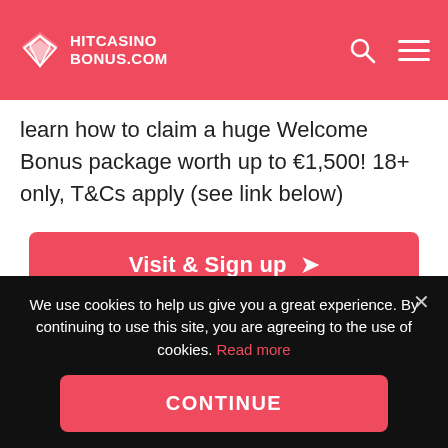HITCASINOBONUS.COM
learn how to claim a huge Welcome Bonus package worth up to €1,500! 18+ only, T&Cs apply (see link below)
Visit & Sign up →
Read Review
We use cookies to help us give you a great experience. By continuing to use this site, you are agreeing to the use of cookies. Read more
CONTINUE